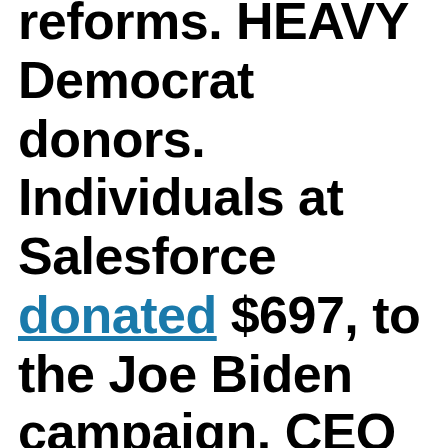reforms. HEAVY Democrat donors. Individuals at Salesforce donated $697, to the Joe Biden campaign. CEO Marc Benioff had a sitdown with AOC. Yelp – Run by multiple anti-Trump propagandist(s). CEO b